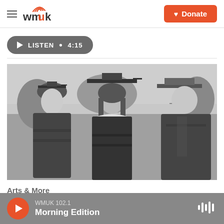WMUK
[Figure (logo): WMUK radio station logo with signal waves above the letters, in orange and dark text]
Donate button
LISTEN • 4:15
[Figure (photo): Black and white photograph of three people in academic regalia (graduation caps and gowns) at what appears to be a commencement ceremony. The person in the center is a woman wearing a mortarboard cap and graduation gown with a white hood. Two men flank her, both also in academic regalia.]
Arts & More
WMUK 102.1 Morning Edition